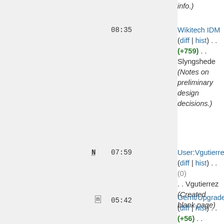info.)
08:35 Wikitech IDM (diff | hist) . . (+759) . . Slyngshede (Notes on preliminary design decisions.)
N 07:59 User:Vgutierrez (diff | hist) . . (0) . . Vgutierrez (Created blank page)
m 05:42 Gerrit/Upgrade (diff | hist) . . (+56) . . Hashar (step to logout from "gerrit2" user)